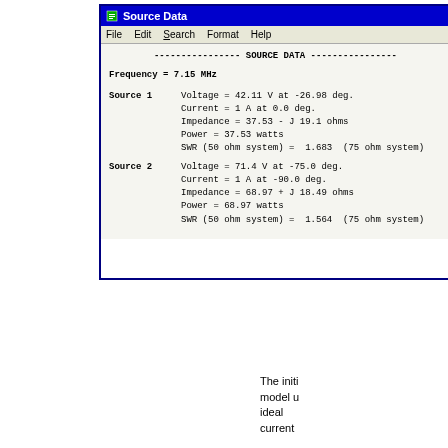[Figure (screenshot): A Windows-style application window titled 'Source Data' showing antenna modeling output. Contains a menu bar (File, Edit, Search, Format, Help) and monospace text content showing SOURCE DATA with frequency, voltage, current, impedance, power, and SWR values for Source 1 and Source 2.]
The initi model u ideal current